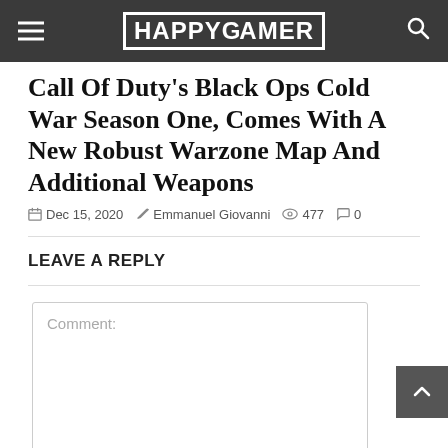HAPPYGAMER
Call Of Duty's Black Ops Cold War Season One, Comes With A New Robust Warzone Map And Additional Weapons
Dec 15, 2020   Emmanuel Giovanni   477   0
LEAVE A REPLY
Comment: